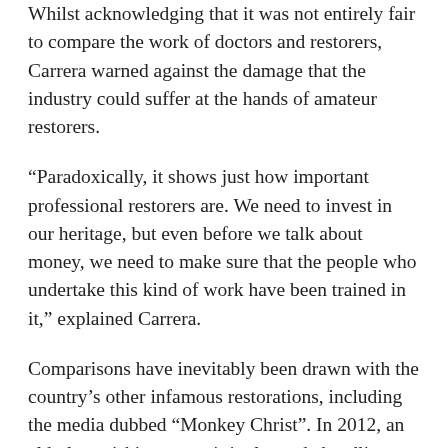Whilst acknowledging that it was not entirely fair to compare the work of doctors and restorers, Carrera warned against the damage that the industry could suffer at the hands of amateur restorers.
“Paradoxically, it shows just how important professional restorers are. We need to invest in our heritage, but even before we talk about money, we need to make sure that the people who undertake this kind of work have been trained in it,” explained Carrera.
Comparisons have inevitably been drawn with the country’s other infamous restorations, including the media dubbed “Monkey Christ”. In 2012, an elderly parishioner unwittingly made headlines around the world for failing to restore a prized Jesus Christ fresco at her local church in Borja, Spain. Cecilia Giménez had been upset that parts of the painting